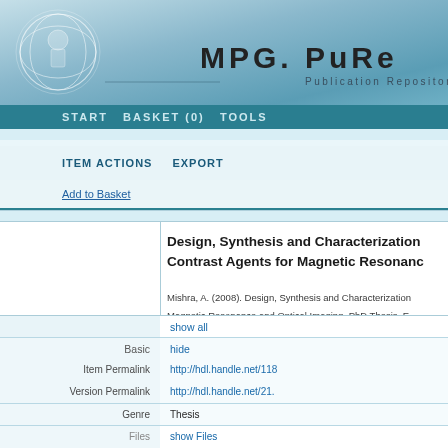[Figure (logo): MPG.PuRe Publication Repository header with Minerva logo on teal/blue gradient background]
START  BASKET (0)  TOOLS
ITEM ACTIONS   EXPORT
Add to Basket
Design, Synthesis and Characterization of Contrast Agents for Magnetic Resonance...
Mishra, A. (2008). Design, Synthesis and Characterization of Contrast Agents for Magnetic Resonance and Optical Imaging. PhD Thesis, E...
|  |  |
| --- | --- |
|  | show all |
| Basic | hide |
| Item Permalink | http://hdl.handle.net/118... |
| Version Permalink | http://hdl.handle.net/21... |
| Genre | Thesis |
| Files | show Files |